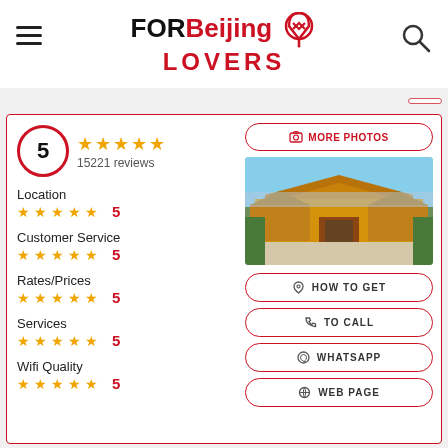FOR Beijing LOVERS
5 ★★★★★ 15221 reviews
Location ★★★★★ 5
Customer Service ★★★★★ 5
Rates/Prices ★★★★★ 5
Services ★★★★★ 5
Wifi Quality ★★★★★ 5
[Figure (photo): Aerial view of the Forbidden City in Beijing with traditional yellow-roofed buildings]
MORE PHOTOS
HOW TO GET
TO CALL
WHATSAPP
WEB PAGE